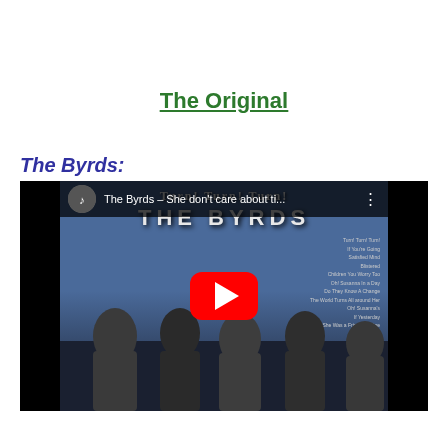The Original
The Byrds:
[Figure (screenshot): YouTube video thumbnail for 'The Byrds - She don't care about ti...' showing The Byrds album cover 'Turn! Turn! Turn!' with a red YouTube play button overlay]